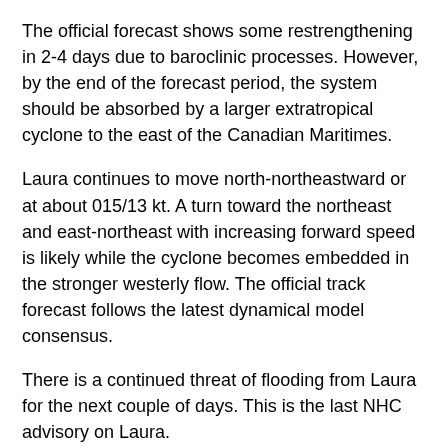The official forecast shows some restrengthening in 2-4 days due to baroclinic processes. However, by the end of the forecast period, the system should be absorbed by a larger extratropical cyclone to the east of the Canadian Maritimes.
Laura continues to move north-northeastward or at about 015/13 kt. A turn toward the northeast and east-northeast with increasing forward speed is likely while the cyclone becomes embedded in the stronger westerly flow. The official track forecast follows the latest dynamical model consensus.
There is a continued threat of flooding from Laura for the next couple of days. This is the last NHC advisory on Laura.
Future information on this system, including the rainfall threat, can be found in Public Advisories issued by the Weather Prediction Center beginning at 4 AM CDT, under AWIPS header TCPAT3, WMO header WTNT33 KWNH, and on the web at http://www.wpc.ncep.noaa.gov